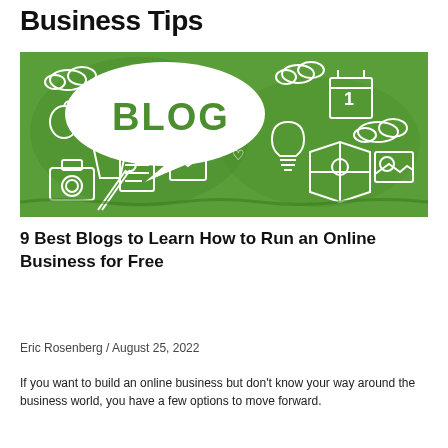Business Tips
[Figure (illustration): Green illustrated blog banner with doodle-style icons including cameras, notebooks, a light bulb, clouds, a calendar showing '1', a map, and a speech bubble containing the word 'BLOG' in large block letters. White hand-drawn style on green background.]
9 Best Blogs to Learn How to Run an Online Business for Free
Eric Rosenberg / August 25, 2022
If you want to build an online business but don't know your way around the business world, you have a few options to move forward.